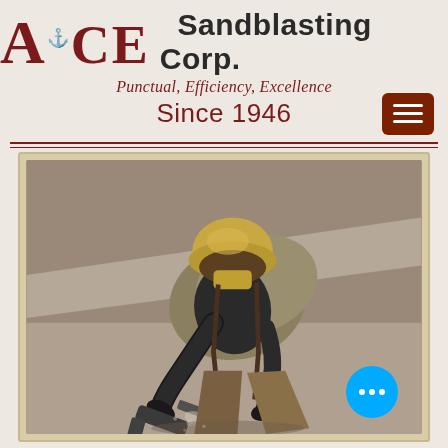ACE Sandblasting Corp.
Punctual, Efficiency, Excellence
Since 1946
[Figure (photo): A sandblasting worker in full protective gear including a yellow helmet/mask and olive jacket, crouched down operating a sandblasting nozzle gun. The background shows a grey concrete or metal surface being blasted.]